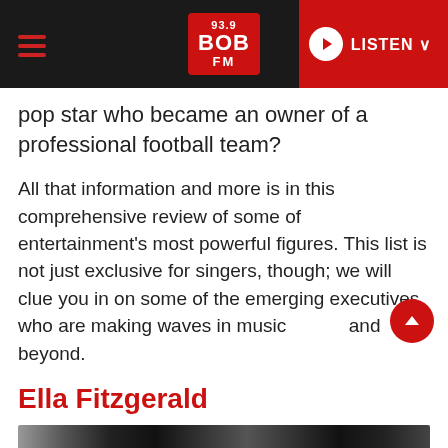93.9 BOB FM — LISTEN
pop star who became an owner of a professional football team?
All that information and more is in this comprehensive review of some of entertainment's most powerful figures. This list is not just exclusive for singers, though; we will clue you in on some of the emerging executives who are making waves in music and beyond.
Ella Fitzgerald
[Figure (photo): Dark photograph strip at the bottom of the page]